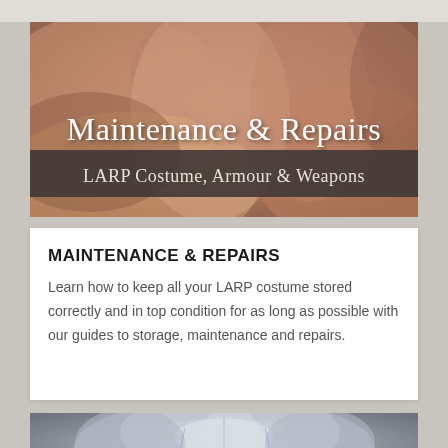[Figure (illustration): Banner image showing tan/brown leather folds with overlaid text 'Maintenance & Repairs' in large serif font and subtitle 'LARP Costume, Armour & Weapons' on a dark semi-transparent bar.]
MAINTENANCE & REPAIRS
Learn how to keep all your LARP costume stored correctly and in top condition for as long as possible with our guides to storage, maintenance and repairs.
[Figure (photo): Partial photo of silver/metallic LARP armour pieces showing chest plate and shoulder guards.]